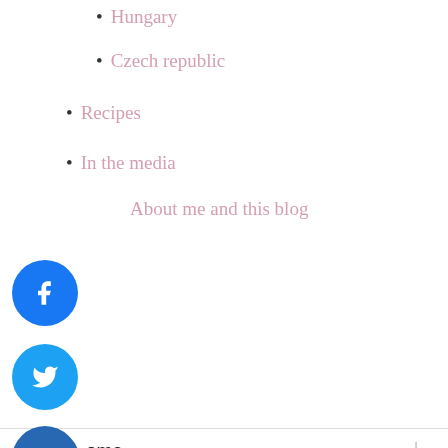Hungary
Czech republic
Recipes
In the media
About me and this blog
[Figure (other): Facebook social share button (blue circle with f icon)]
[Figure (other): Twitter social share button (light blue circle with bird icon)]
[Figure (other): LinkedIn social share button (dark blue circle with in icon)]
[Figure (other): Plus/share button (gray circle with + icon)]
ome
ew? Start here!
How to guides
Stuff
Veganism